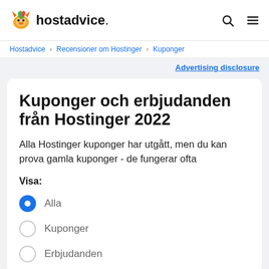hostadvice.
Hostadvice › Recensioner om Hostinger › Kuponger
Advertising disclosure
Kuponger och erbjudanden från Hostinger 2022
Alla Hostinger kuponger har utgått, men du kan prova gamla kuponger - de fungerar ofta
Visa:
Alla
Kuponger
Erbjudanden